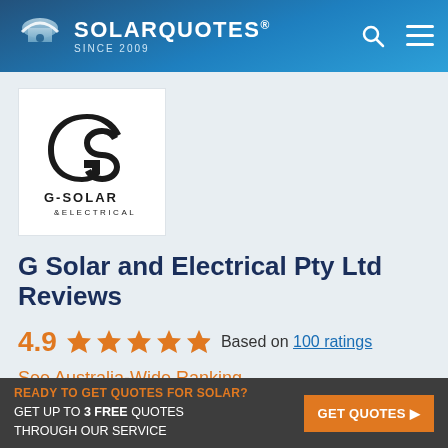SOLARQUOTES® SINCE 2009
[Figure (logo): G-Solar & Electrical company logo — stylized G and S letterforms in black on white background, with text G-SOLAR and &ELECTRICAL below]
G Solar and Electrical Pty Ltd Reviews
4.9 ★★★★★ Based on 100 ratings
See Australia-Wide Ranking
READY TO GET QUOTES FOR SOLAR? GET UP TO 3 FREE QUOTES THROUGH OUR SERVICE | GET QUOTES ▶